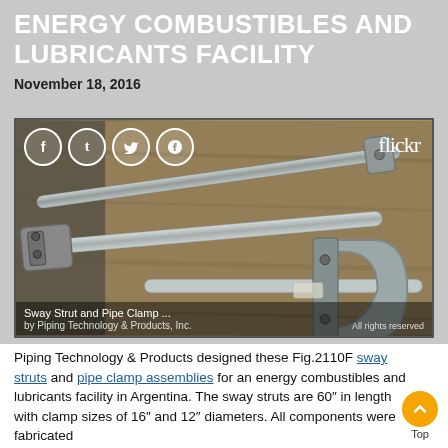ENERGY COMBUSTIBLES AND LUBRICANTS FACILITY
November 18, 2016
[Figure (photo): Sway Strut and Pipe Clamp assemblies (Fig.2110F) on a workbench, with social media icons (Facebook, Tumblr, Twitter, Pinterest) and flickr logo overlay. Caption: 'Sway Strut and Pipe Clamp ... by Piping Technology & Products, Inc. All rights reserved']
Piping Technology & Products designed these Fig.2110F sway struts and pipe clamp assemblies for an energy combustibles and lubricants facility in Argentina. The sway struts are 60″ in length with clamp sizes of 16″ and 12″ diameters. All components were fabricated